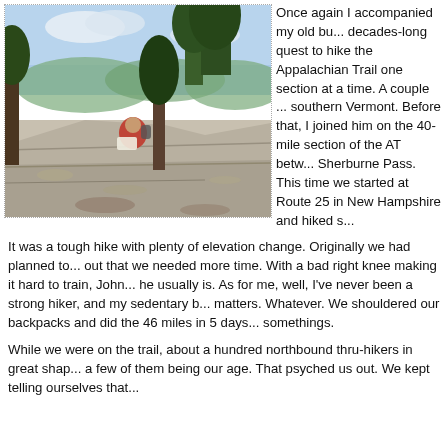[Figure (photo): A person in a red jacket sitting on large flat rocks reading a map or book, with pine trees and green mountains visible in the background under a partly cloudy sky. The photo appears to be taken on the Appalachian Trail.]
Once again I accompanied my old bu... decades-long quest to hike the Appalachian Trail one section at a time. A couple ... southern Vermont. Before that, I joined him on the 40-mile section of the AT betw... Sherburne Pass. This time we started at Route 25 in New Hampshire and hiked s...
It was a tough hike with plenty of elevation change. Originally we had planned to... out that we needed more time. With a bad right knee making it hard to train, John... he usually is. As for me, well, I've never been a strong hiker, and my sedentary b... matters. Whatever. We shouldered our backpacks and did the 46 miles in 5 days... somethings.
While we were on the trail, about a hundred northbound thru-hikers in great shap... a few of them being our age. That psyched us out. We kept telling ourselves that...